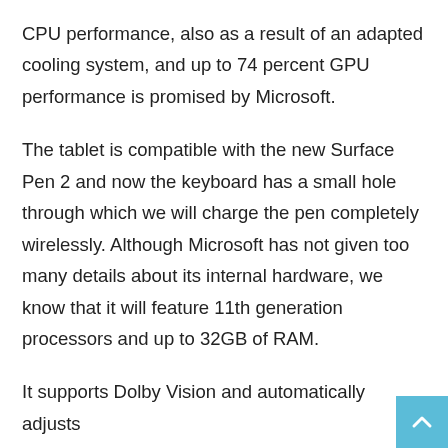CPU performance, also as a result of an adapted cooling system, and up to 74 percent GPU performance is promised by Microsoft.
The tablet is compatible with the new Surface Pen 2 and now the keyboard has a small hole through which we will charge the pen completely wirelessly. Although Microsoft has not given too many details about its internal hardware, we know that it will feature 11th generation processors and up to 32GB of RAM.
It supports Dolby Vision and automatically adjusts